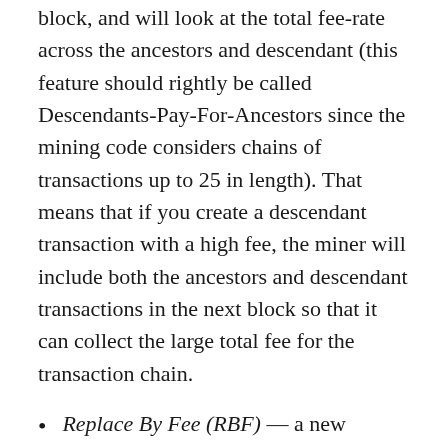block, and will look at the total fee-rate across the ancestors and descendant (this feature should rightly be called Descendants-Pay-For-Ancestors since the mining code considers chains of transactions up to 25 in length). That means that if you create a descendant transaction with a high fee, the miner will include both the ancestors and descendant transactions in the next block so that it can collect the large total fee for the transaction chain.
Replace By Fee (RBF) — a new transaction which essentially double-spends the stuck transaction. The signer of the original